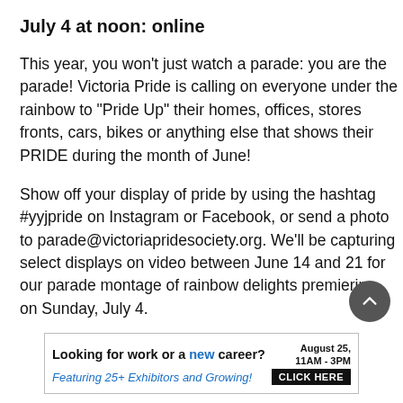July 4 at noon: online
This year, you won’t just watch a parade: you are the parade! Victoria Pride is calling on everyone under the rainbow to “Pride Up” their homes, offices, stores fronts, cars, bikes or anything else that shows their PRIDE during the month of June!
Show off your display of pride by using the hashtag #yyjpride on Instagram or Facebook, or send a photo to parade@victoriapridesociety.org. We’ll be capturing select displays on video between June 14 and 21 for our parade montage of rainbow delights premiering on Sunday, July 4.
[Figure (other): Scroll-to-top circular button with upward chevron arrow]
[Figure (other): Advertisement banner: Looking for work or a new career? August 25, 11AM-3PM. Featuring 25+ Exhibitors and Growing! CLICK HERE]